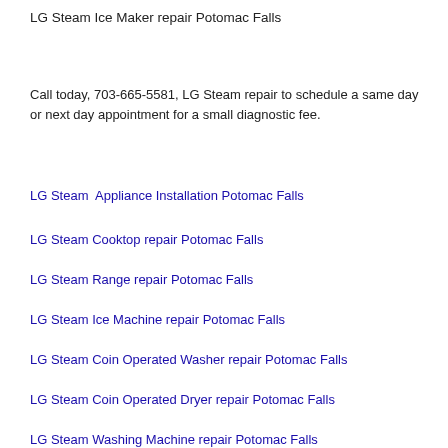LG Steam Ice Maker repair Potomac Falls
Call today, 703-665-5581, LG Steam repair to schedule a same day or next day appointment for a small diagnostic fee.
LG Steam  Appliance Installation Potomac Falls
LG Steam Cooktop repair Potomac Falls
LG Steam Range repair Potomac Falls
LG Steam Ice Machine repair Potomac Falls
LG Steam Coin Operated Washer repair Potomac Falls
LG Steam Coin Operated Dryer repair Potomac Falls
LG Steam Washing Machine repair Potomac Falls